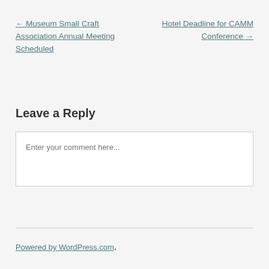← Museum Small Craft Association Annual Meeting Scheduled
Hotel Deadline for CAMM Conference →
Leave a Reply
Enter your comment here...
Powered by WordPress.com.